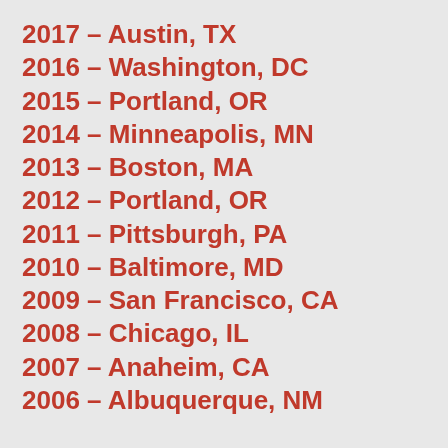2017 – Austin, TX
2016 – Washington, DC
2015 – Portland, OR
2014 – Minneapolis, MN
2013 – Boston, MA
2012 – Portland, OR
2011 – Pittsburgh, PA
2010 – Baltimore, MD
2009 – San Francisco, CA
2008 – Chicago, IL
2007 – Anaheim, CA
2006 – Albuquerque, NM